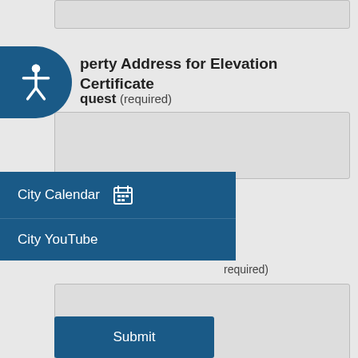(input field - top, partially visible)
Property Address for Elevation Certificate
Request (required)
(text input field)
City Calendar
City YouTube
(required)
(textarea field)
Submit